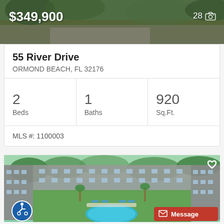[Figure (photo): Aerial/outdoor photo with price overlay showing $349,900 and 28 photos indicator]
55 River Drive
ORMOND BEACH, FL 32176
2 Beds | 1 Baths | 920 Sq.Ft.
MLS #: 1100003
[Figure (photo): Aerial photo of condominium complex with pool, green lawn, and palm trees. Heart/favorite icon top right. Wheelchair accessibility icon bottom left. Message button bottom right.]